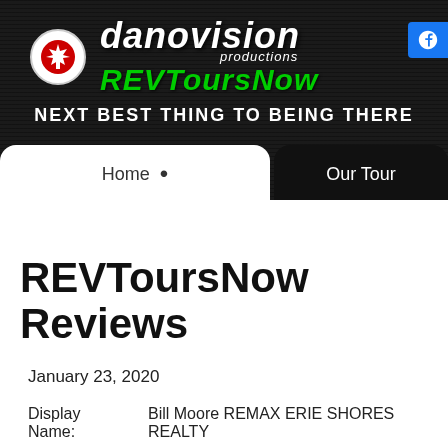[Figure (logo): DanoVision Productions REVToursNow logo with Canadian maple leaf flag icon on dark brushed metal background]
REVToursNow Reviews
January 23, 2020
Display Name: Bill Moore REMAX ERIE SHORES REALTY
Star Rating: 5